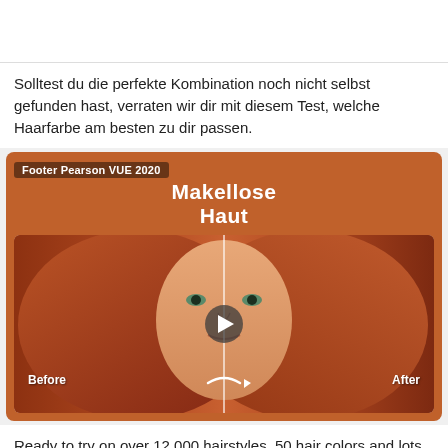[Figure (photo): Top white area, partially visible image above the fold]
Solltest du die perfekte Kombination noch nicht selbst gefunden hast, verraten wir dir mit diesem Test, welche Haarfarbe am besten zu dir passen.
[Figure (screenshot): Orange card with label 'Footer Pearson VUE 2020', title 'Makellose Haut', and a before/after photo of a woman with red hair showing a makeup app interface with play button, Before/After labels, and a toolbar strip.]
Ready to try on over 12,000 hairstyles, 50 hair colors and lots of highlights? Click the Test button to display the Capture Photo dialog box.
Frisuren App Kostenlos